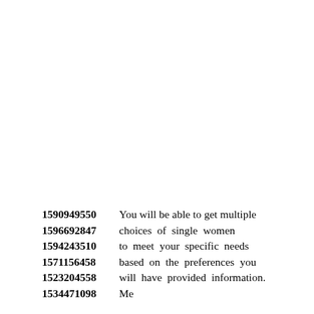1590949550 You will be able to get multiple
1596692847 choices of single women
1594243510 to meet your specific needs
1571156458 based on the preferences you
1523204558 will have provided information.
1534471098 Members are protected...